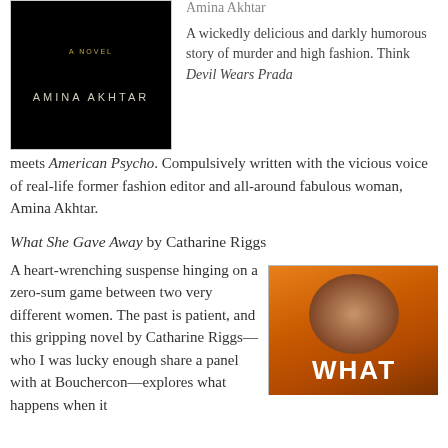[Figure (illustration): Book cover for a novel by Amina Akhtar — black background with gold text 'A NOVEL' at top, and 'AMINA AKHTAR' in spaced caps near bottom]
Amina Akhtar
A wickedly delicious and darkly humorous story of murder and high fashion. Think Devil Wears Prada meets American Psycho. Compulsively written with the vicious voice of real-life former fashion editor and all-around fabulous woman, Amina Akhtar.
What She Gave Away by Catharine Riggs
A heart-wrenching suspense hinging on a zero-sum game between two very different women. The past is patient, and this gripping novel by Catharine Riggs—who I was lucky enough share a panel with at Bouchercon—explores what happens when it
[Figure (illustration): Book cover showing the word WHAT in bold white text at the bottom, with a person's face/head visible against an orange background]